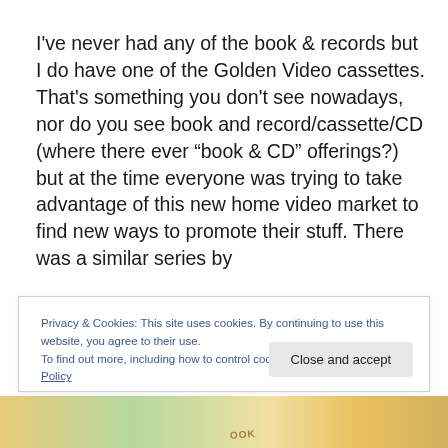I've never had any of the book & records but I do have one of the Golden Video cassettes. That's something you don't see nowadays, nor do you see book and record/cassette/CD (where there ever “book & CD” offerings?) but at the time everyone was trying to take advantage of this new home video market to find new ways to promote their stuff. There was a similar series by
Privacy & Cookies: This site uses cookies. By continuing to use this website, you agree to their use.
To find out more, including how to control cookies, see here: Cookie Policy
[Figure (photo): Bottom portion of colorful book covers partially visible at the bottom of the page, with the text 'OOK' visible]